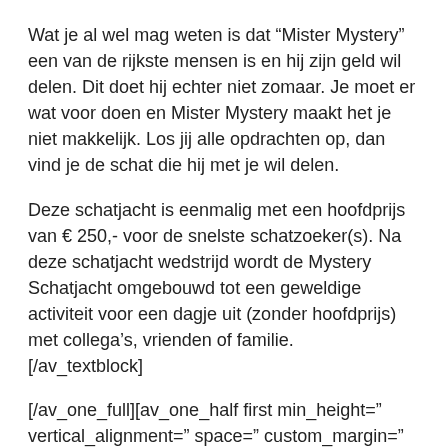Wat je al wel mag weten is dat “Mister Mystery” een van de rijkste mensen is en hij zijn geld wil delen. Dit doet hij echter niet zomaar. Je moet er wat voor doen en Mister Mystery maakt het je niet makkelijk. Los jij alle opdrachten op, dan vind je de schat die hij met je wil delen.
Deze schatjacht is eenmalig met een hoofdprijs van € 250,- voor de snelste schatzoeker(s). Na deze schatjacht wedstrijd wordt de Mystery Schatjacht omgebouwd tot een geweldige activiteit voor een dagje uit (zonder hoofdprijs) met collega’s, vrienden of familie.
[/av_textblock]
[/av_one_full][av_one_half first min_height=” vertical_alignment=” space=” custom_margin=” margin=‘0px’ padding=‘0px’ border=” border_color=” radius=‘0px’ background_color=” src=” background_position=‘top left’